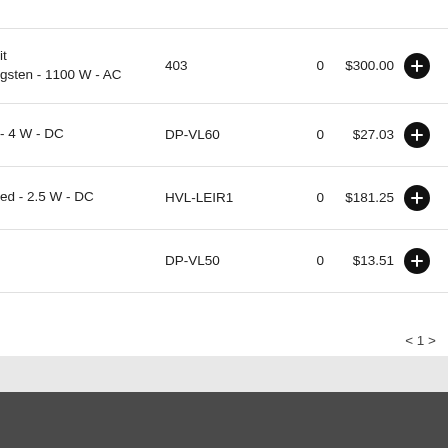| Product | SKU | Qty | Price | Action |
| --- | --- | --- | --- | --- |
| it
gsten - 1100 W - AC | 403 | 0 | $300.00 | + |
| - 4 W - DC | DP-VL60 | 0 | $27.03 | + |
| ed - 2.5 W - DC | HVL-LEIR1 | 0 | $181.25 | + |
|  | DP-VL50 | 0 | $13.51 | + |
< 1 >